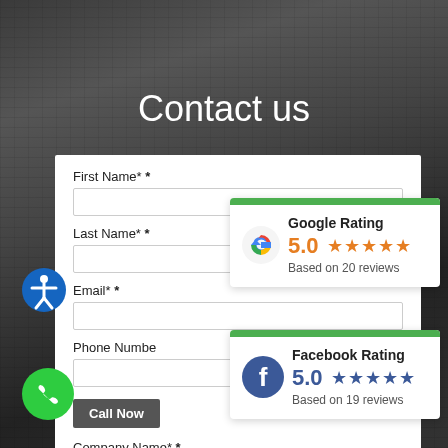[Figure (photo): Dark background showing a laptop keyboard with a person's hand typing, overlaid with a contact form and rating cards]
Contact us
First Name* *
Last Name* *
Email* *
Phone Numbe(r)
Call Now
Company Name* *
Google Rating
5.0 ★★★★★
Based on 20 reviews
Facebook Rating
5.0 ★★★★★
Based on 19 reviews